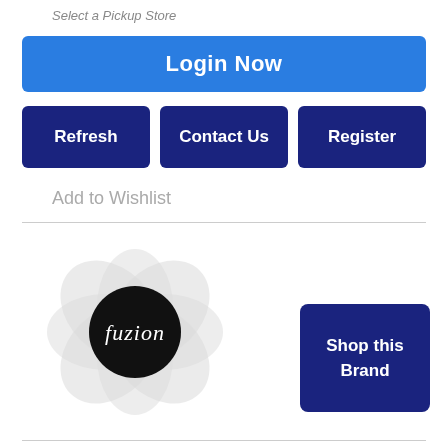Select a Pickup Store
Login Now
Refresh
Contact Us
Register
Add to Wishlist
[Figure (logo): Fuzion brand logo: overlapping grey petal/circle shapes forming a flower with a black center circle and cursive 'fuzion' text in white]
Shop this Brand